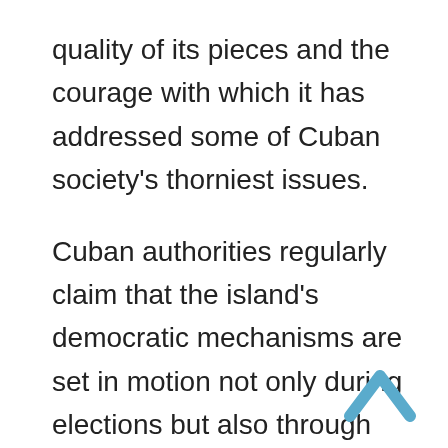quality of its pieces and the courage with which it has addressed some of Cuban society's thorniest issues.

Cuban authorities regularly claim that the island's democratic mechanisms are set in motion not only during elections but also through consultations with the population on the most varied domestic issues.

On this occasion, they have their work cut out for them, because film artists have already met, reached a number of important agreements and elected a